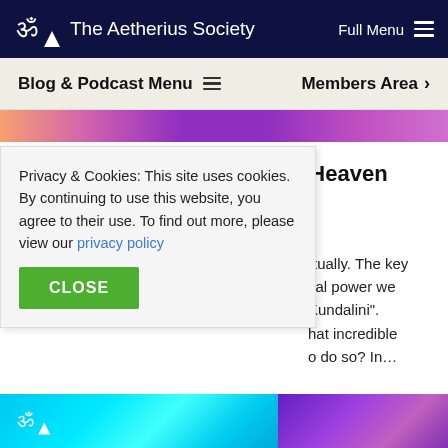The Aetherius Society   Full Menu
Blog & Podcast Menu   Members Area
[Figure (illustration): Cropped hero image strip with pink, purple, magenta gradient patterns]
Service Leads to Kundalini Heaven (Part 1)
By Richard Lawrence 🎙 Podcast
The purpose of all our lives is to evolve spiritually. The key ...cal power we ...Kundalini". ...hat incredible ...o do so? In…
Privacy & Cookies: This site uses cookies. By continuing to use this website, you agree to their use. To find out more, please view our privacy policy
CLOSE
[Figure (illustration): Bottom strip with cyan/teal rays on left and purple/violet gradient on right, with Aetherius Society logo on left portion]